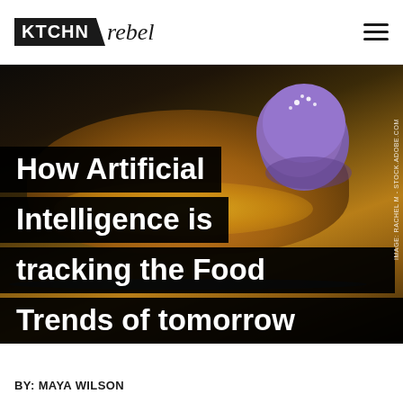KTCHN rebel
[Figure (photo): Close-up food photo showing Japanese-style pancake or dessert dish with a purple/ube ice cream scoop on top, yellow corn or mango toppings, dark moody background. Image credit: RACHEL M - STOCK.ADOBE.COM]
How Artificial Intelligence is tracking the Food Trends of tomorrow
BY: MAYA WILSON